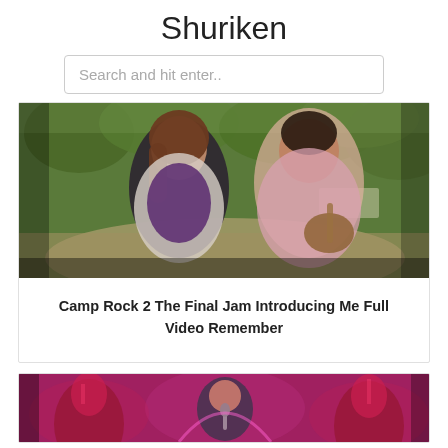Shuriken
Search and hit enter..
[Figure (photo): Two young people outdoors, a girl with long brown hair in a white jacket and a boy in a pink plaid shirt playing guitar, in a park or camp setting with green trees in the background.]
Camp Rock 2 The Final Jam Introducing Me Full Video Remember
[Figure (photo): Pink/magenta toned concert or performance scene with architectural elements resembling a mosque or ornate building in the background, and a performer at a microphone in the center.]